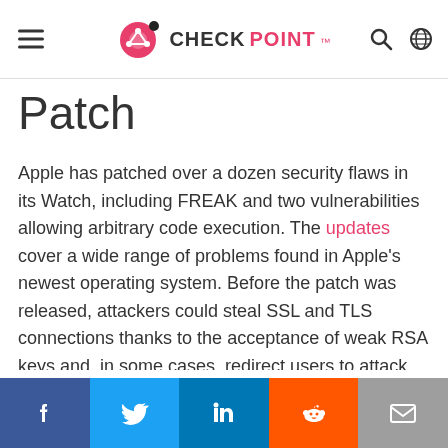CHECK POINT
Patch
Apple has patched over a dozen security flaws in its Watch, including FREAK and two vulnerabilities allowing arbitrary code execution. The updates cover a wide range of problems found in Apple's newest operating system. Before the patch was released, attackers could steal SSL and TLS connections thanks to the acceptance of weak RSA keys and, in some cases, redirect users to attack sites.
Social share bar: Facebook, Twitter, LinkedIn, Reddit, Email